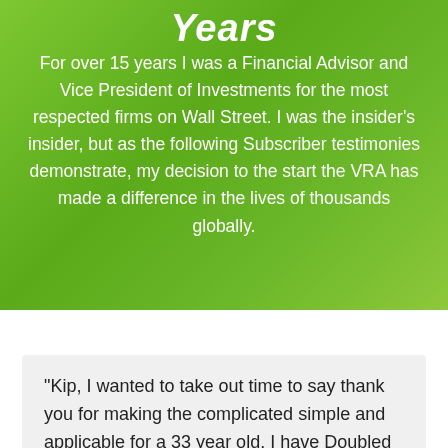Years
For over 15 years I was a Financial Advisor and Vice President of Investments for the most respected firms on Wall Street. I was the insider's insider, but as the following Subscriber testimonies demonstrate, my decision to the start the VRA has made a difference in the lives of thousands globally.
"Kip, I wanted to take out time to say thank you for making the complicated simple and applicable for a 33 year old. I have Doubled my 100k account in less than 25 days. When I first heard you speak on "possible gains" I